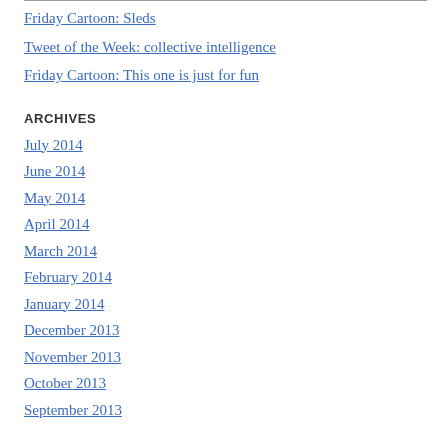Friday Cartoon: Sleds
Tweet of the Week: collective intelligence
Friday Cartoon: This one is just for fun
ARCHIVES
July 2014
June 2014
May 2014
April 2014
March 2014
February 2014
January 2014
December 2013
November 2013
October 2013
September 2013